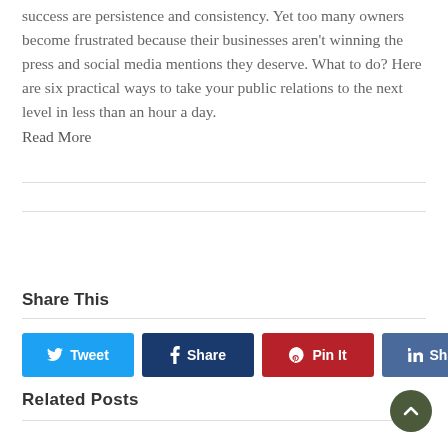success are persistence and consistency. Yet too many owners become frustrated because their businesses aren't winning the press and social media mentions they deserve. What to do? Here are six practical ways to take your public relations to the next level in less than an hour a day.
Read More
Share This
[Figure (infographic): Social sharing buttons: Tweet (Twitter, blue), Share (Facebook, dark blue), Pin It (Pinterest, red), Share (LinkedIn, steel blue)]
Related Posts